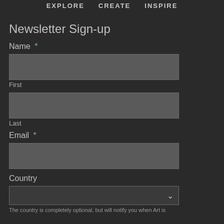EXPLORE   CREATE   INSPIRE
Newsletter Sign-up
Name *
First
Last
Email *
Country
The country is completely optional, but will notify you when Art is